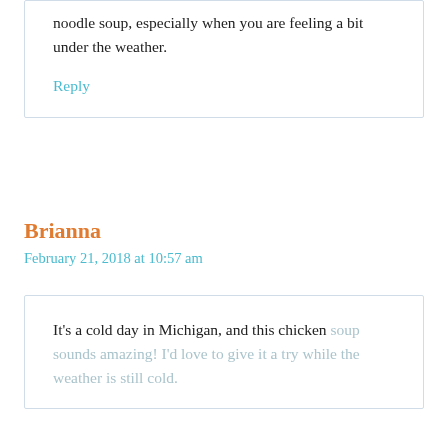noodle soup, especially when you are feeling a bit under the weather.
Reply
Brianna
February 21, 2018 at 10:57 am
It's a cold day in Michigan, and this chicken soup sounds amazing! I'd love to give it a try while the weather is still cold.